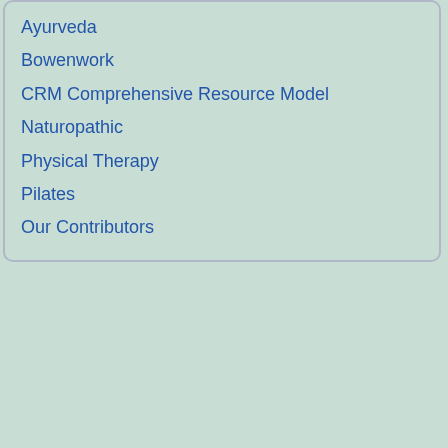Ayurveda
Bowenwork
CRM Comprehensive Resource Model
Naturopathic
Physical Therapy
Pilates
Our Contributors
[Figure (illustration): Medical advertisement for Pacific Pituitary Disorders Center at Saint John's Health Center, showing a cross-section illustration of a human head with brain highlighted and pituitary gland indicated in orange/red, against a blue background. Below is an orange banner with text 'PACIFIC PITUITARY DISORDERS CENTER℠']